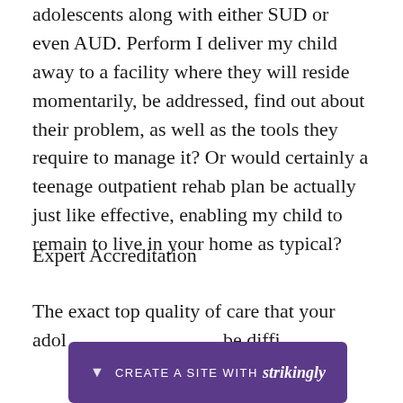adolescents along with either SUD or even AUD. Perform I deliver my child away to a facility where they will reside momentarily, be addressed, find out about their problem, as well as the tools they require to manage it? Or would certainly a teenage outpatient rehab plan be actually just like effective, enabling my child to remain to live in your home as typical?
Expert Accreditation
The exact top quality of care that your adolescent receives can be difficult to r to
[Figure (other): Purple banner overlay at bottom of page reading 'CREATE A SITE WITH strikingly' with a dropdown arrow icon on the left]